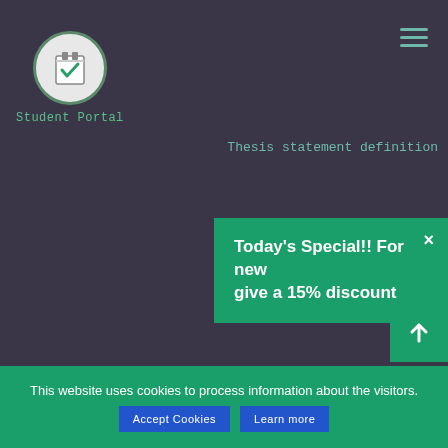[Figure (logo): Student Portal logo: circular icon with notepad and checkmark, teal border on light background]
Student Portal
Thesis statement definition
Today's Special!! For new give a 15% discount
Main
About us
Money back guarantee
How it works
Revision policy
A-Z Posts
Cookie Policy
Plagiarism checker
Privacy Policy
Contact
Terms and Conditions
This website uses cookies to process information about the visitors.
Accept Cookies
Learn more